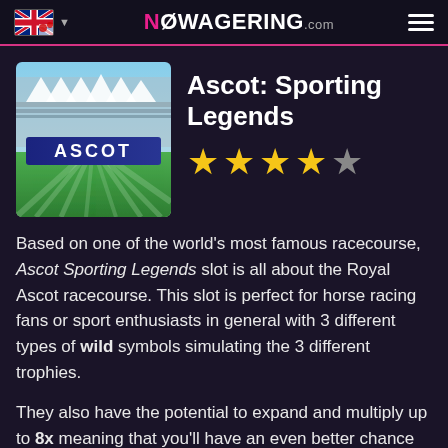NOWAGERING.com
[Figure (screenshot): Ascot Sporting Legends slot game thumbnail showing a stadium with 'ASCOT' text on a blue banner, green field with light rays]
Ascot: Sporting Legends
★★★★☆ (4 out of 5 stars)
Based on one of the world's most famous racecourse, Ascot Sporting Legends slot is all about the Royal Ascot racecourse. This slot is perfect for horse racing fans or sport enthusiasts in general with 3 different types of wild symbols simulating the 3 different trophies.
They also have the potential to expand and multiply up to 8x meaning that you'll have an even better chance to win big. If that isn't enough, then you can win on the three-tiered